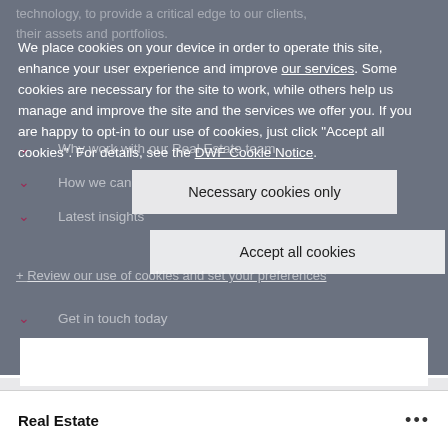technology, to provide a critical edge to our clients, their assets and portfolios.
We place cookies on your device in order to operate this site, enhance your user experience and improve our services. Some cookies are necessary for the site to work, while others help us manage and improve the site and the services we offer you. If you are happy to opt-in to our use of cookies, just click "Accept all cookies". For details, see the DWF Cookie Notice.
Why work with our Real Estate team
How we can help you
Latest insights
+ Review our use of cookies and set your preferences
Get in touch today
Real Estate